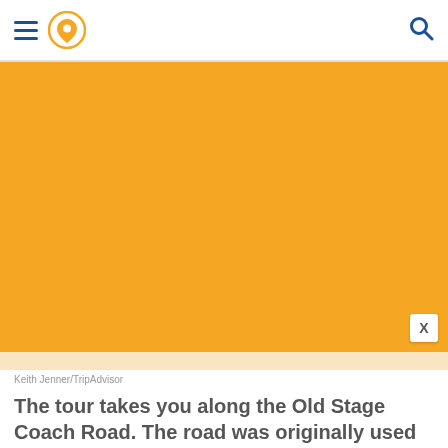Navigation header with hamburger menu, location pin icon, and search icon
[Figure (photo): Large orange/amber colored image area (photo placeholder) taking up most of the upper portion of the page. A white close button with 'X' is visible in the bottom-right corner of the image area.]
Keith Jenner/TripAdvisor
The tour takes you along the Old Stage Coach Road. The road was originally used by Native